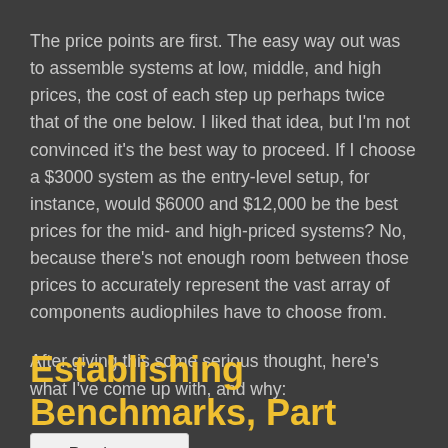The price points are first. The easy way out was to assemble systems at low, middle, and high prices, the cost of each step up perhaps twice that of the one below. I liked that idea, but I'm not convinced it's the best way to proceed. If I choose a $3000 system as the entry-level setup, for instance, would $6000 and $12,000 be the best prices for the mid- and high-priced systems? No, because there's not enough room between those prices to accurately represent the vast array of components audiophiles have to choose from.
After giving this some serious thought, here's what I've come up with, and why:
Read more ...
Establishing Benchmarks, Part